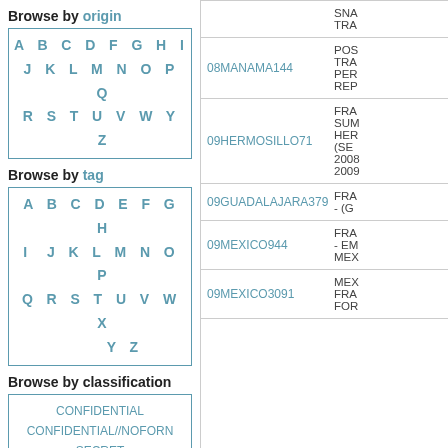Browse by origin
| A B C D F G H I |
| J K L M N O P Q |
| R S T U V W Y Z |
Browse by tag
| A B C D E F G H |
| I J K L M N O P |
| Q R S T U V W X |
| Y Z |
Browse by classification
| CONFIDENTIAL |
| CONFIDENTIAL//NOFORN |
| SECRET |
| SECRET//NOFORN |
| UNCLASSIFIED |
| UNCLASSIFIED//FOR |
| OFFICIAL USE ONLY |
Community resources
| Follow us on Twitter |
| Check our Reddit |
| Cable ID | Summary |
| --- | --- |
| 08MANAMA144 | POS TRA PER REP |
| 09HERMOSILLO71 | FRA SUM HER (SE 2008 2009 |
| 09GUADALAJARA379 | FRA - (G |
| 09MEXICO944 | FRA - EM MEX |
| 09MEXICO3091 | MEX FRA FOR |